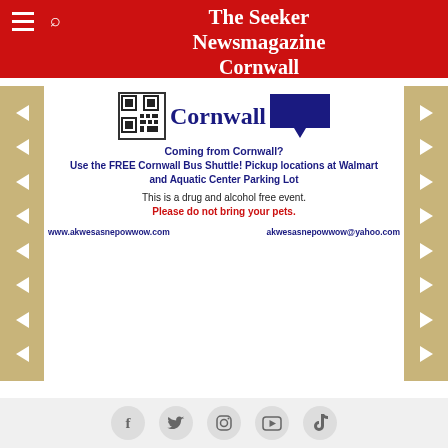The Seeker Newsmagazine Cornwall
[Figure (infographic): Akwesasne Powwow advertisement with film strip border, QR code, speech bubble, text about Cornwall Bus Shuttle and event details, and website/email URLs]
Coming from Cornwall? Use the FREE Cornwall Bus Shuttle! Pickup locations at Walmart and Aquatic Center Parking Lot
This is a drug and alcohol free event.
Please do not bring your pets.
www.akwesasnepowwow.com    akwesasnepowwow@yahoo.com
[Figure (infographic): Social media icons: Facebook, Twitter, Instagram, YouTube, TikTok in gray circles]
[Figure (logo): The Cornwall Seeker logo in red text - THE CORNWALL on top, SEEKER in large letters below]